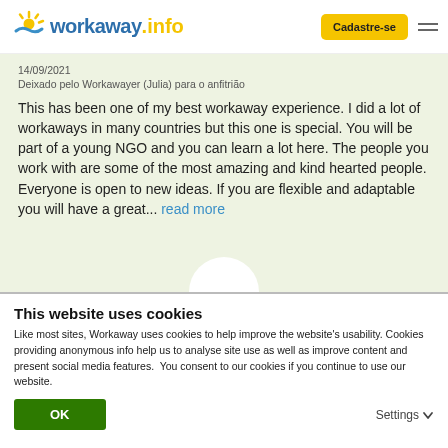workaway.info | Cadastre-se
14/09/2021
Deixado pelo Workawayer (Julia) para o anfitrião
This has been one of my best workaway experience. I did a lot of workaways in many countries but this one is special. You will be part of a young NGO and you can learn a lot here. The people you work with are some of the most amazing and kind hearted people. Everyone is open to new ideas. If you are flexible and adaptable you will have a great... read more
This website uses cookies
Like most sites, Workaway uses cookies to help improve the website's usability. Cookies providing anonymous info help us to analyse site use as well as improve content and present social media features.  You consent to our cookies if you continue to use our website.
OK
Settings